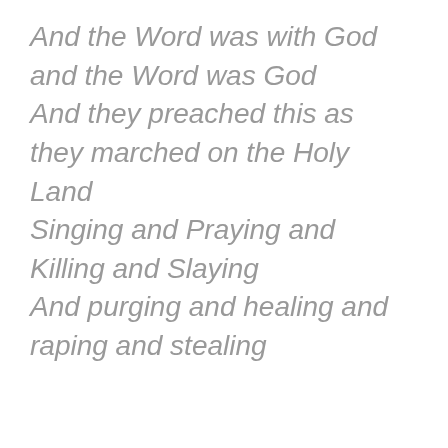And the Word was with God and the Word was God And they preached this as they marched on the Holy Land Singing and Praying and Killing and Slaying And purging and healing and raping and stealing